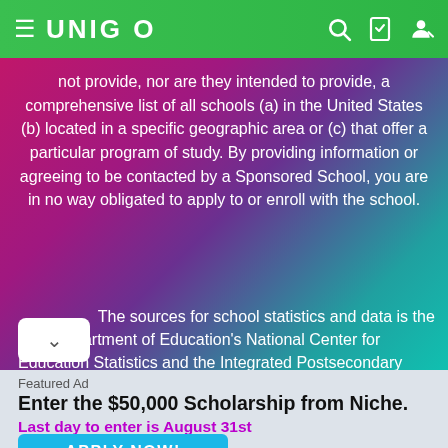UNIGO
not provide, nor are they intended to provide, a comprehensive list of all schools (a) in the United States (b) located in a specific geographic area or (c) that offer a particular program of study. By providing information or agreeing to be contacted by a Sponsored School, you are in no way obligated to apply to or enroll with the school.
The sources for school statistics and data is the U.S. Department of Education's National Center for Education Statistics and the Integrated Postsecondary Education
Featured Ad
Enter the $50,000 Scholarship from Niche.
Last day to enter is August 31st
APPLY NOW!